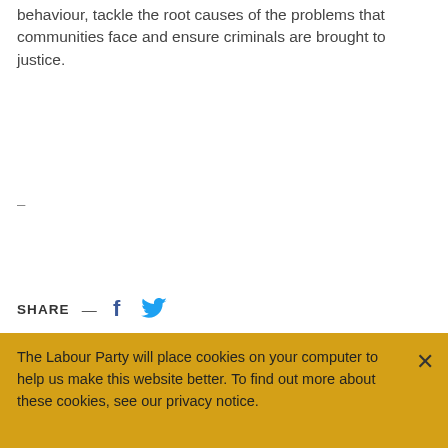behaviour, tackle the root causes of the problems that communities face and ensure criminals are brought to justice.
–
SHARE — [Facebook icon] [Twitter icon]
The Labour Party will place cookies on your computer to help us make this website better. To find out more about these cookies, see our privacy notice.